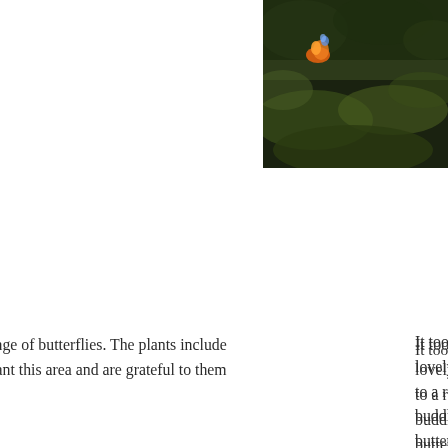[Figure (photo): Partial photo visible in the upper right corner showing a dark outdoor scene with green moss/grass and what appears to be a small light or flame effect in orange/blue.]
It took the group two hours to plant about 6 lovely, bright looking area which will be att to a range of butterflies. The plants include buddleia and willow. It is hoped that these p butterflies and their caterpillars. We were d to replant this area and are grateful to them improve Abbey Fields.
We have now attached a butterfly chart to th identify any butterfly that they may see but To view a copy see Butterfly information be